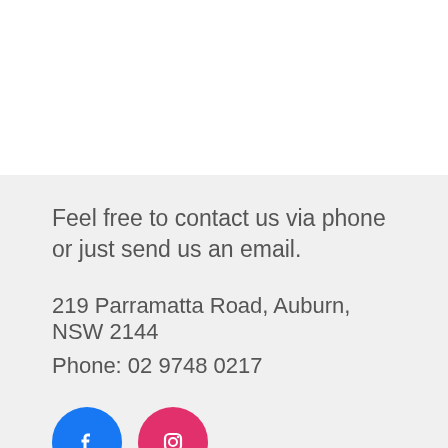Feel free to contact us via phone or just send us an email.
219 Parramatta Road, Auburn, NSW 2144
Phone: 02 9748 0217
[Figure (other): Facebook and Instagram social media icon buttons]
ABN: 52615897366
[Figure (other): Bottom navigation bar with user account icon, search icon, and shopping cart icon with badge showing 0]